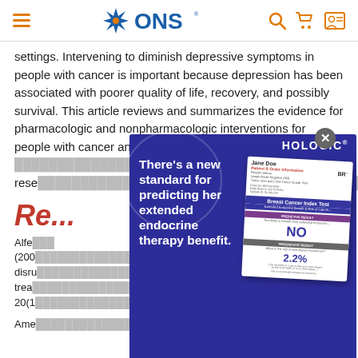ONS (Oncology Nursing Society) website header with navigation icons
settings. Intervening to diminish depressive symptoms in people with cancer is important because depression has been associated with poorer quality of life, recovery, and possibly survival. This article reviews and summarizes the evidence for pharmacologic and nonpharmacologic interventions for people with cancer and...research...
Re...
Alfe... (200...life disruption...treatment...20(1...
Ame...for
[Figure (infographic): Hologic advertisement overlay with dark blue background featuring text 'There's a new standard for predicting her extended endocrine therapy benefit.' alongside a Breast Cancer Index Test report card showing NO predictive result and 2.2% prognostic result. A close button (X) appears in the upper right.]